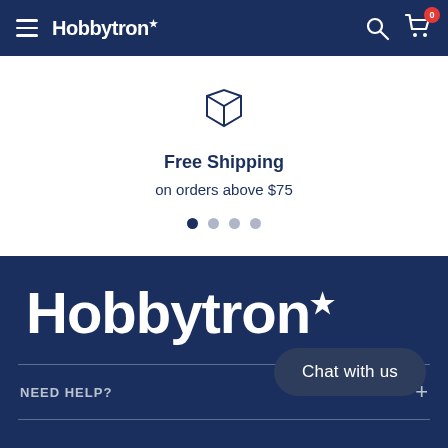Hobbytron
[Figure (illustration): Package/box outline icon in dark navy]
Free Shipping
on orders above $75
[Figure (illustration): Carousel dot navigation: 4 dots, first active]
[Figure (logo): Hobbytron logo in large white text on dark navy background]
NEED HELP?
Chat with us